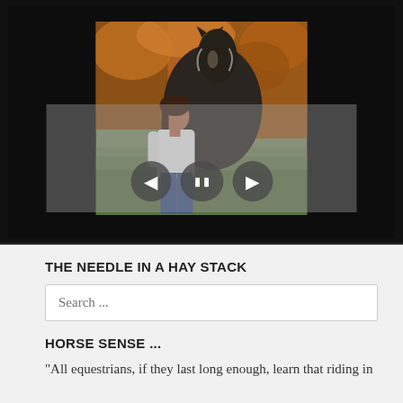[Figure (photo): A slideshow widget with a dark background showing a photo of a woman with a horse in an autumn outdoor setting, with navigation controls (previous, pause, next buttons) overlaid at the bottom center.]
THE NEEDLE IN A HAY STACK
Search ...
HORSE SENSE ...
"All equestrians, if they last long enough, learn that riding in